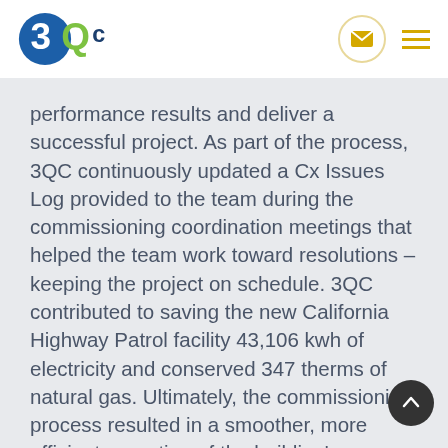[Figure (logo): 3QC logo with blue circle, green Q, and dark blue letter C]
performance results and deliver a successful project. As part of the process, 3QC continuously updated a Cx Issues Log provided to the team during the commissioning coordination meetings that helped the team work toward resolutions – keeping the project on schedule. 3QC contributed to saving the new California Highway Patrol facility 43,106 kwh of electricity and conserved 347 therms of natural gas. Ultimately, the commissioning process resulted in a smoother, more efficient operation of the building's heating/cooling systems through rigorous testing, tuning and final verification that the building systems ti...